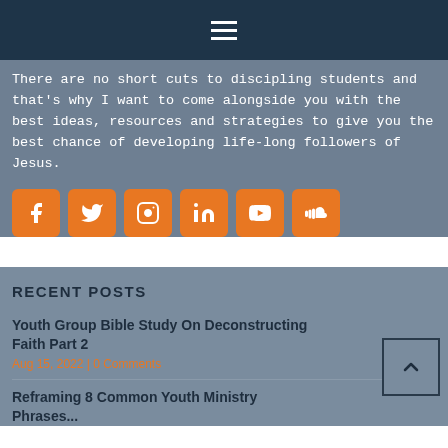Navigation bar with hamburger menu
There are no short cuts to discipling students and that's why I want to come alongside you with the best ideas, resources and strategies to give you the best chance of developing life-long followers of Jesus.
[Figure (other): Social media icons: Facebook, Twitter, Instagram, LinkedIn, YouTube, SoundCloud — orange rounded square buttons]
RECENT POSTS
Youth Group Bible Study On Deconstructing Faith Part 2
Aug 15, 2022 | 0 Comments
Reframing 8 Common Youth Ministry Phrases...